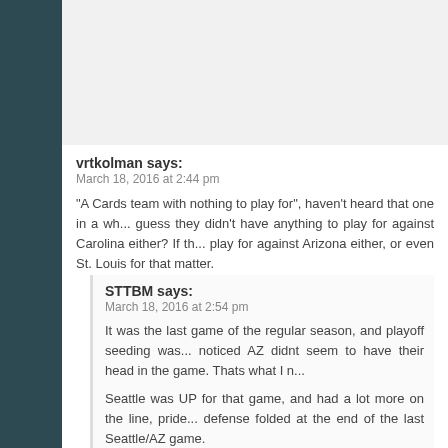vrtkolman says:
March 18, 2016 at 2:44 pm

"A Cards team with nothing to play for", haven't heard that one in a while. I guess they didn't have anything to play for against Carolina either? If th... play for against Arizona either, or even St. Louis for that matter.
STTBM says:
March 18, 2016 at 2:54 pm

It was the last game of the regular season, and playoff seeding was... noticed AZ didnt seem to have their head in the game. Thats what I n...

Seattle was UP for that game, and had a lot more on the line, pride... defense folded at the end of the last Seattle/AZ game.

It was not surprising that Seattle showed up more ready to play tha... faced them in the playoffs, the game would have been much closer.
Scraps says:
March 18, 2016 at 4:44 pm

Everybody knows this, though. You can come up with an arg... forth, up and down, if you want to cherry pick to support your a... the game as played, and the eight games as played (and of cou... is not excusing, you know).